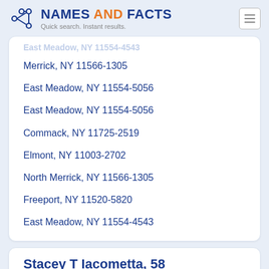NAMES AND FACTS — Quick search. Instant results.
Merrick, NY 11566-1305
East Meadow, NY 11554-5056
East Meadow, NY 11554-5056
Commack, NY 11725-2519
Elmont, NY 11003-2702
North Merrick, NY 11566-1305
Freeport, NY 11520-5820
East Meadow, NY 11554-4543
Stacey T Iacometta, 58